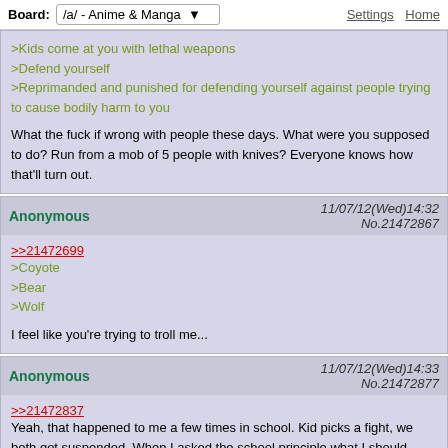Board: /a/ - Anime & Manga   Settings  Home
>Kids come at you with lethal weapons
>Defend yourself
>Reprimanded and punished for defending yourself against people trying to cause bodily harm to you

What the fuck if wrong with people these days. What were you supposed to do? Run from a mob of 5 people with knives? Everyone knows how that'll turn out.
Anonymous  11/07/12(Wed)14:32 No.21472867
>>21472699
>Coyote
>Bear
>Wolf

I feel like you're trying to troll me...
Anonymous  11/07/12(Wed)14:33 No.21472877
>>21472837
Yeah, that happened to me a few times in school. Kid picks a fight, we both get suspended. When I asked the school principle what I should have done instead, they said to run and get a teacher or security. I looked at her and responded with "how the fuck do you